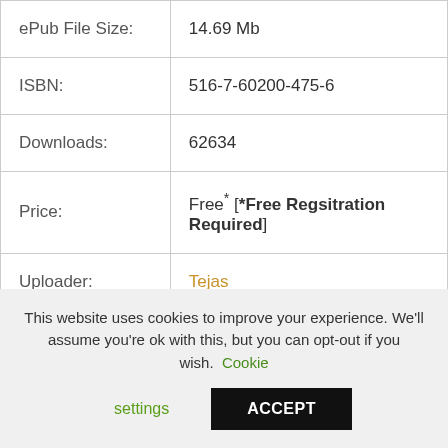| Field | Value |
| --- | --- |
| ePub File Size: | 14.69 Mb |
| ISBN: | 516-7-60200-475-6 |
| Downloads: | 62634 |
| Price: | Free* [*Free Regsitration Required] |
| Uploader: | Tejas |
This website uses cookies to improve your experience. We'll assume you're ok with this, but you can opt-out if you wish. Cookie settings ACCEPT